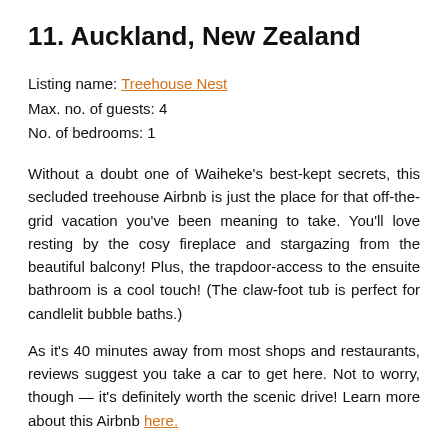11. Auckland, New Zealand
Listing name: Treehouse Nest
Max. no. of guests: 4
No. of bedrooms: 1
Without a doubt one of Waiheke’s best-kept secrets, this secluded treehouse Airbnb is just the place for that off-the-grid vacation you’ve been meaning to take. You’ll love resting by the cosy fireplace and stargazing from the beautiful balcony! Plus, the trapdoor-access to the ensuite bathroom is a cool touch! (The claw-foot tub is perfect for candlelit bubble baths.)
As it’s 40 minutes away from most shops and restaurants, reviews suggest you take a car to get here. Not to worry, though — it’s definitely worth the scenic drive! Learn more about this Airbnb here.